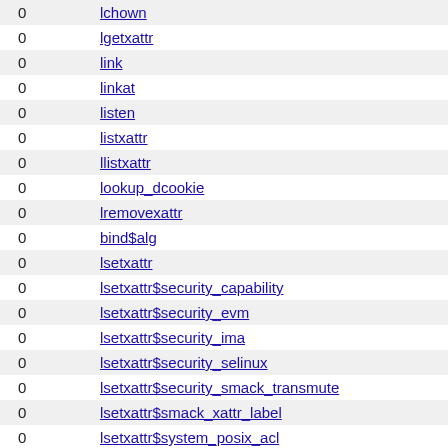|  |  |
| --- | --- |
| 0 | lchown |
| 0 | lgetxattr |
| 0 | link |
| 0 | linkat |
| 0 | listen |
| 0 | listxattr |
| 0 | llistxattr |
| 0 | lookup_dcookie |
| 0 | lremovexattr |
| 0 | bind$alg |
| 0 | lsetxattr |
| 0 | lsetxattr$security_capability |
| 0 | lsetxattr$security_evm |
| 0 | lsetxattr$security_ima |
| 0 | lsetxattr$security_selinux |
| 0 | lsetxattr$security_smack_transmute |
| 0 | lsetxattr$smack_xattr_label |
| 0 | lsetxattr$system_posix_acl |
| 0 | lsetxattr$trusted_overlay_nlink |
| 0 | lsetxattr$trusted_overlay_opaque |
| 0 | lsetxattr$trusted_overlay_origin |